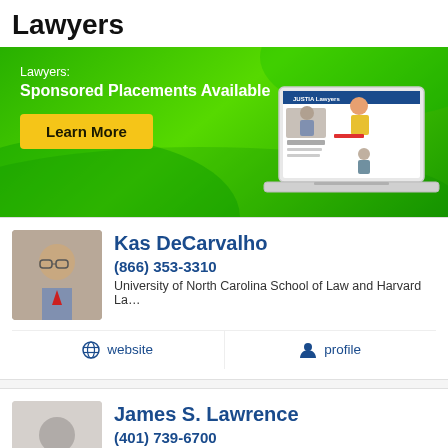Lawyers
[Figure (infographic): Green banner advertisement: 'Lawyers: Sponsored Placements Available' with a yellow 'Learn More' button and an illustration of a laptop showing the Justia Lawyers website.]
Kas DeCarvalho
(866) 353-3310
University of North Carolina School of Law and Harvard La...
website
profile
James S. Lawrence
(401) 739-6700
Suffolk University Law School...